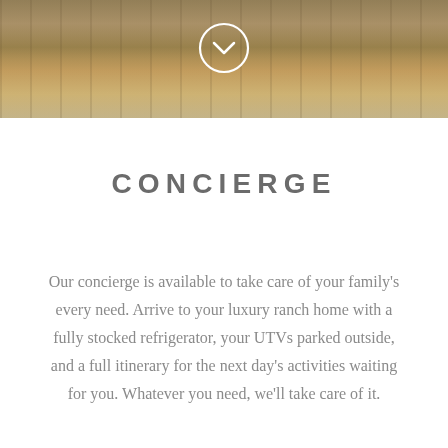[Figure (photo): Outdoor ranch scene with wooden structures, grass, and water in the background. A white circular chevron/down-arrow icon is overlaid at the top center.]
CONCIERGE
Our concierge is available to take care of your family's every need. Arrive to your luxury ranch home with a fully stocked refrigerator, your UTVs parked outside, and a full itinerary for the next day's activities waiting for you. Whatever you need, we'll take care of it.